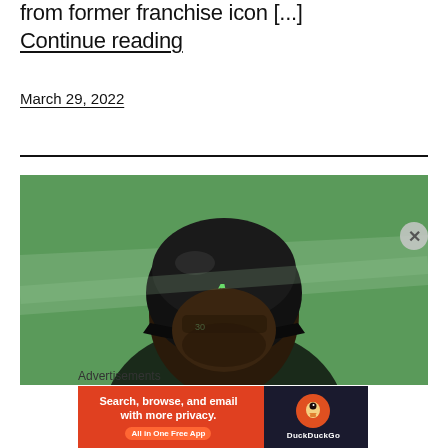from former franchise icon [...]
Continue reading
March 29, 2022
[Figure (photo): Baseball player wearing an Atlanta Braves helmet, green-tinted photo, close-up face shot]
Advertisements
[Figure (screenshot): DuckDuckGo advertisement banner: Search, browse, and email with more privacy. All in One Free App]